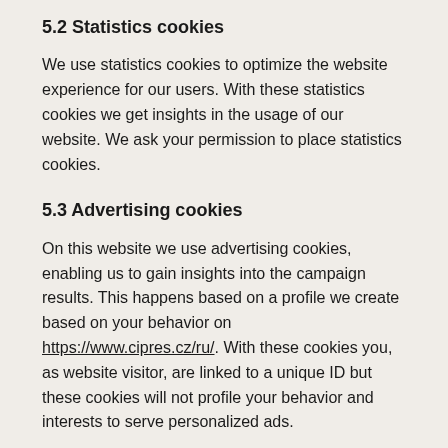5.2 Statistics cookies
We use statistics cookies to optimize the website experience for our users. With these statistics cookies we get insights in the usage of our website. We ask your permission to place statistics cookies.
5.3 Advertising cookies
On this website we use advertising cookies, enabling us to gain insights into the campaign results. This happens based on a profile we create based on your behavior on https://www.cipres.cz/ru/. With these cookies you, as website visitor, are linked to a unique ID but these cookies will not profile your behavior and interests to serve personalized ads.
5.4 Marketing/Tracking cookies
Marketing/Tracking cookies are cookies or any other form of local storage, used to create user profiles to display advertising or to track the user on this website or across